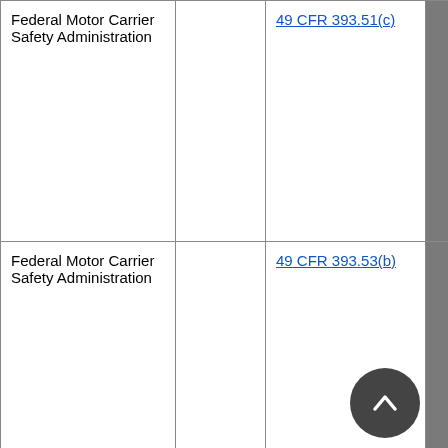| Federal Motor Carrier Safety Administration |  | 49 CFR 393.51(c) | FMVS... |
| Federal Motor Carrier Safety Administration |  | 49 CFR 393.53(b) | FMVS... |
| Environmental Protection Agency |  | 40 CFR 85, Subpart V, Appendix... | S... |